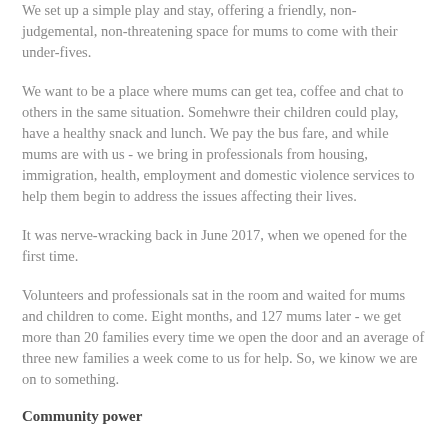We set up a simple play and stay, offering a friendly, non-judgemental, non-threatening space for mums to come with their under-fives.
We want to be a place where mums can get tea, coffee and chat to others in the same situation. Somehwre their children could play, have a healthy snack and lunch. We pay the bus fare, and while mums are with us - we bring in professionals from housing, immigration, health, employment and domestic violence services to help them begin to address the issues affecting their lives.
It was nerve-wracking back in June 2017, when we opened for the first time.
Volunteers and professionals sat in the room and waited for mums and children to come. Eight months, and 127 mums later - we get more than 20 families every time we open the door and an average of three new families a week come to us for help. So, we kinow we are on to something.
Community power